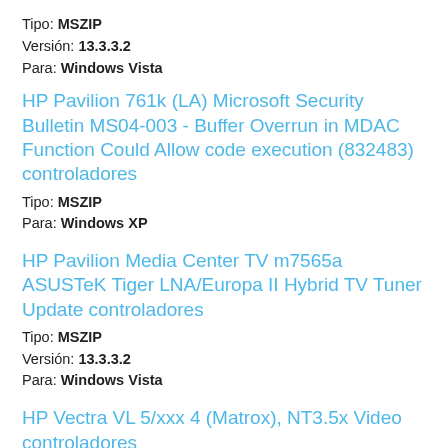Tipo: MSZIP
Versión: 13.3.3.2
Para: Windows Vista
HP Pavilion 761k (LA) Microsoft Security Bulletin MS04-003 - Buffer Overrun in MDAC Function Could Allow code execution (832483) controladores
Tipo: MSZIP
Para: Windows XP
HP Pavilion Media Center TV m7565a ASUSTeK Tiger LNA/Europa II Hybrid TV Tuner Update controladores
Tipo: MSZIP
Versión: 13.3.3.2
Para: Windows Vista
HP Vectra VL 5/xxx 4 (Matrox), NT3.5x Video controladores
Tipo: INSTALLSHIELD